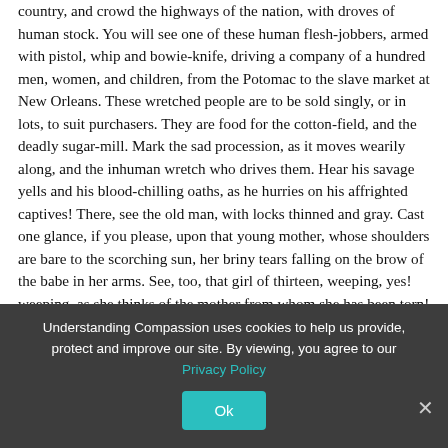country, and crowd the highways of the nation, with droves of human stock. You will see one of these human flesh-jobbers, armed with pistol, whip and bowie-knife, driving a company of a hundred men, women, and children, from the Potomac to the slave market at New Orleans. These wretched people are to be sold singly, or in lots, to suit purchasers. They are food for the cotton-field, and the deadly sugar-mill. Mark the sad procession, as it moves wearily along, and the inhuman wretch who drives them. Hear his savage yells and his blood-chilling oaths, as he hurries on his affrighted captives! There, see the old man, with locks thinned and gray. Cast one glance, if you please, upon that young mother, whose shoulders are bare to the scorching sun, her briny tears falling on the brow of the babe in her arms. See, too, that girl of thirteen, weeping, yes! weeping, as she thinks of the mother from whom she has been torn! The drove moves tardily. Heat and sorrow have nearly consumed their strength; suddenly you hear a quick snap, like the discharge of a rifle: the
Understanding Compassion uses cookies to help us provide, protect and improve our site. By viewing, you agree to our Privacy Policy